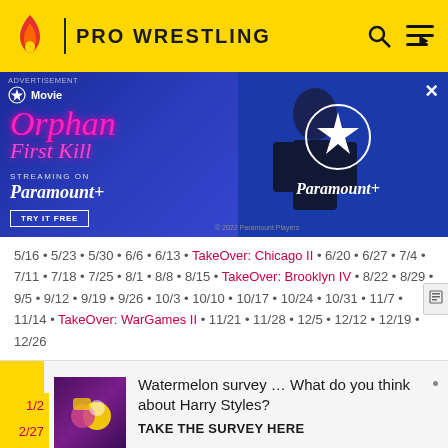PRO WRESTLING
[Figure (photo): Advertisement for Orphan: First Kill streaming on Paramount+. Shows movie title in pink italic text, a person's silhouette in the center, and Paramount+ logo on the right. Blue/purple background.]
5/16 • 5/23 • 5/30 • 6/6 • 6/13 • TakeOver: Chicago II • 6/20 • 6/27 • 7/4 • 7/11 • 7/18 • 7/25 • 8/1 • 8/8 • 8/15 • TakeOver: Brooklyn IV • 8/22 • 8/29 • 9/5 • 9/12 • 9/19 • 9/26 • 10/3 • 10/10 • 10/17 • 10/24 • 10/31 • 11/7 • 11/14 • TakeOver: WarGames II • 11/21 • 11/28 • 12/5 • 12/12 • 12/19 • 12/26
[Figure (infographic): Watermelon survey promotion widget with purple/gold image, arrow icon, and text: Watermelon survey ... What do you think about Harry Styles? TAKE THE SURVEY HERE]
1/2
2/27
4/17